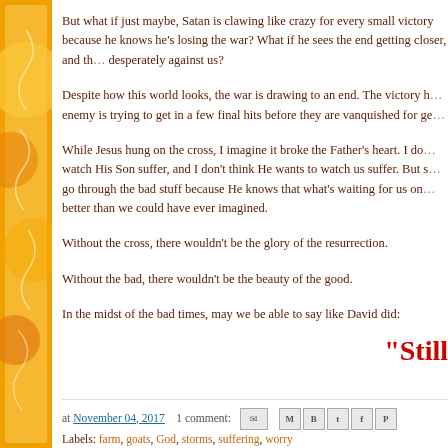But what if just maybe, Satan is clawing like crazy for every small victory because he knows he's losing the war? What if he sees the end getting closer, and that's why he's fighting so desperately against us?
Despite how this world looks, the war is drawing to an end. The victory has been won! The enemy is trying to get in a few final hits before they are vanquished for good.
While Jesus hung on the cross, I imagine it broke the Father's heart. I don't think He likes to watch His Son suffer, and I don't think He wants to watch us suffer. But sometimes we have to go through the bad stuff because He knows that what's waiting for us on the other side is so much better than we could have ever imagined.
Without the cross, there wouldn't be the glory of the resurrection.
Without the bad, there wouldn't be the beauty of the good.
In the midst of the bad times, may we be able to say like David did:
"Still
at November 04, 2017   1 comment:
Labels: farm, goats, God, storms, suffering, worry